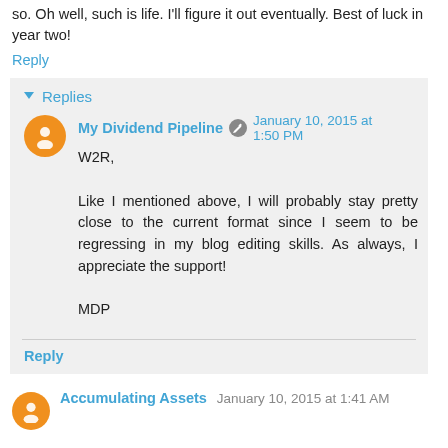so. Oh well, such is life. I'll figure it out eventually. Best of luck in year two!
Reply
▼ Replies
My Dividend Pipeline  ✎  January 10, 2015 at 1:50 PM
W2R,

Like I mentioned above, I will probably stay pretty close to the current format since I seem to be regressing in my blog editing skills. As always, I appreciate the support!

MDP
Reply
Accumulating Assets  January 10, 2015 at 1:41 AM